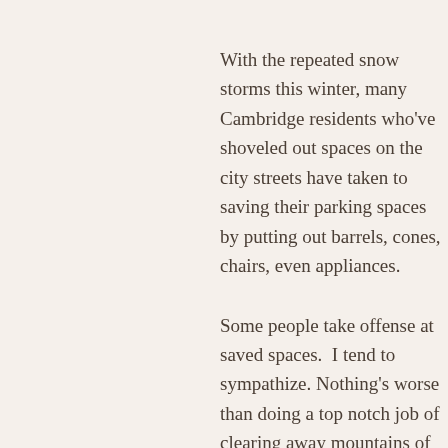With the repeated snow storms this winter, many Cambridge residents who've shoveled out spaces on the city streets have taken to saving their parking spaces by putting out barrels, cones, chairs, even appliances.
Some people take offense at saved spaces.  I tend to sympathize. Nothing's worse than doing a top notch job of clearing away mountains of snow only to have a less than industrious neighbor grab your space – leaving you to circle the block over and over again when you return.
The City of Cambridge has been removing the items used to reserve parking spaces. They're not done yet – I s...